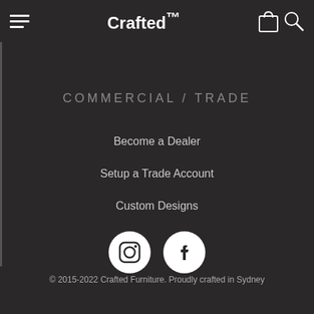Crafted™
COMMERCIAL / TRADE
Become a Dealer
Setup a Trade Account
Custom Designs
[Figure (logo): Instagram and Facebook social media icons (white circle logos)]
© 2015-2022 Crafted Furniture. Proudly crafted in Sydney